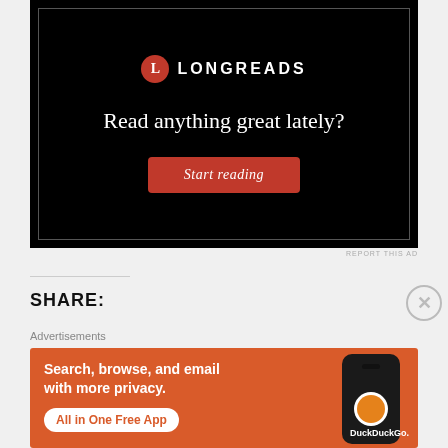[Figure (screenshot): Longreads advertisement with black background. Shows Longreads logo (red circle with L, text LONGREADS). Tagline: 'Read anything great lately?' with red 'Start reading' button.]
REPORT THIS AD
SHARE:
Advertisements
[Figure (screenshot): DuckDuckGo advertisement on orange background. Text: 'Search, browse, and email with more privacy. All in One Free App' with phone mockup showing DuckDuckGo logo.]
REPORT THIS AD